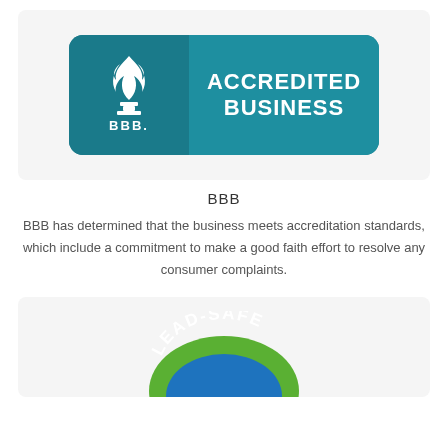[Figure (logo): BBB Accredited Business logo - teal rounded rectangle with BBB torch flame icon on left and 'ACCREDITED BUSINESS' text on right in white]
BBB
BBB has determined that the business meets accreditation standards, which include a commitment to make a good faith effort to resolve any consumer complaints.
[Figure (logo): Lead-Safe certified logo - circular green and blue badge with 'LEAD-SAFE' text visible at top, partially cropped]